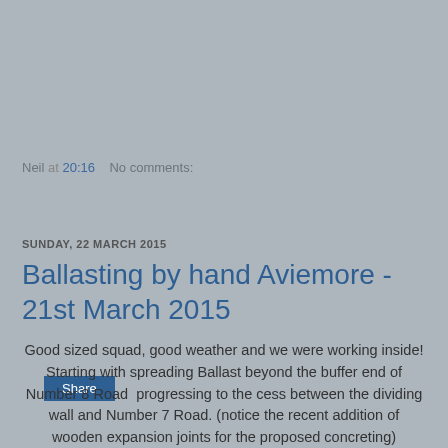Neil at 20:16   No comments:
[Figure (other): Share button]
SUNDAY, 22 MARCH 2015
Ballasting by hand Aviemore - 21st March 2015
Good sized squad, good weather and we were working inside! Starting with spreading Ballast beyond the buffer end of Number 8 Road  progressing to the cess between the dividing wall and Number 7 Road. (notice the recent addition of wooden expansion joints for the proposed concreting)